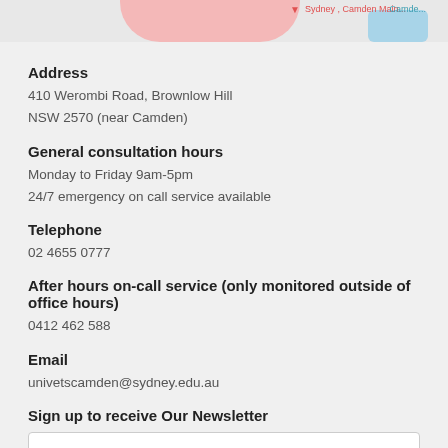[Figure (screenshot): Partial map showing Sydney/Camden Mainline area with pink and blue highlighted regions, red pin marker, and partial text labels]
Address
410 Werombi Road, Brownlow Hill
NSW 2570 (near Camden)
General consultation hours
Monday to Friday 9am-5pm
24/7 emergency on call service available
Telephone
02 4655 0777
After hours on-call service (only monitored outside of office hours)
0412 462 588
Email
univetscamden@sydney.edu.au
Sign up to receive Our Newsletter
First Name*